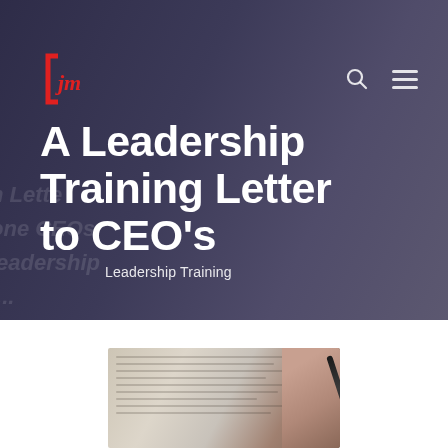A Leadership Training Letter to CEO’s
Leadership Training
[Figure (photo): Close-up photo of a hand holding a pen and writing on a document with dense text, viewed from above at an angle]